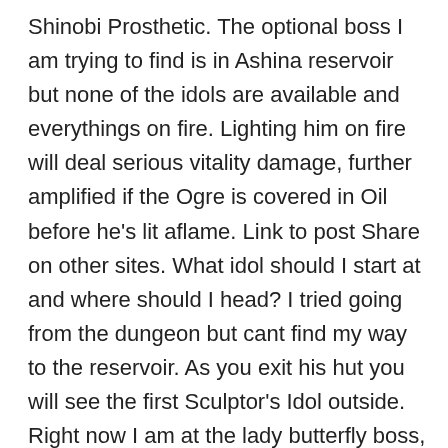Shinobi Prosthetic. The optional boss I am trying to find is in Ashina reservoir but none of the idols are available and everythings on fire. Lighting him on fire will deal serious vitality damage, further amplified if the Ogre is covered in Oil before he's lit aflame. Link to post Share on other sites. What idol should I start at and where should I head? I tried going from the dungeon but cant find my way to the reservoir. As you exit his hut you will see the first Sculptor's Idol outside. Right now I am at the lady butterfly boss, but I haven't entirely complete Ashina Outskirt area (haven't beaten the chained ogre and the headless horseman guy) Am I supposed to (or should to) have beaten Ashina outskirt first before heading to Hirata Estate? Sekiro is full of imposing foes and bestial monstrosities. You can visit the page here. So you